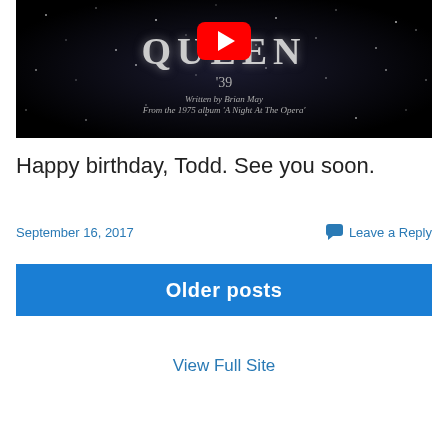[Figure (screenshot): YouTube video thumbnail for Queen '39, written by Brian May, from the 1975 album 'A Night At The Opera'. Dark starfield background with Queen logo text and YouTube play button.]
Happy birthday, Todd. See you soon.
September 16, 2017
Leave a Reply
Older posts
View Full Site